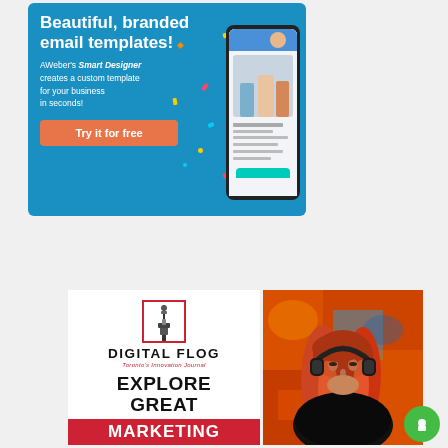[Figure (infographic): AWeber advertisement banner with blue background. Large white bold text reads 'Beautiful, branded email templates!' followed by smaller text 'AWeber's Smart Designer creates a custom template for your business in seconds!' with an orange 'Try it for free' button and a phone mockup on the right.]
[Figure (logo): Digital Flog logo - CN Tower icon inside a red square border, with 'DIGITAL FLOG' in bold black text and 'Toronto's Innovation Journal' in red italic text below.]
EXPLORE GREAT MARKETING
[Figure (photo): Photo of a red-haired woman wearing black headphones against a colorful graffiti background.]